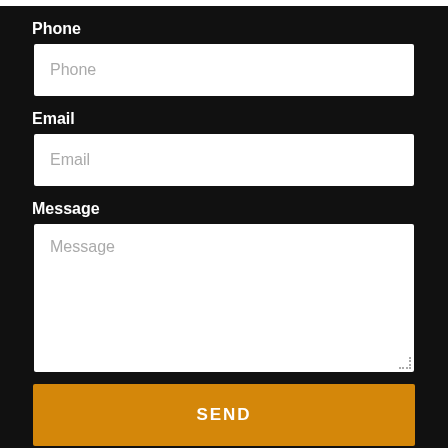Phone
Phone (placeholder)
Email
Email (placeholder)
Message
Message (placeholder)
SEND
1st Jon at Your Service
Call Us